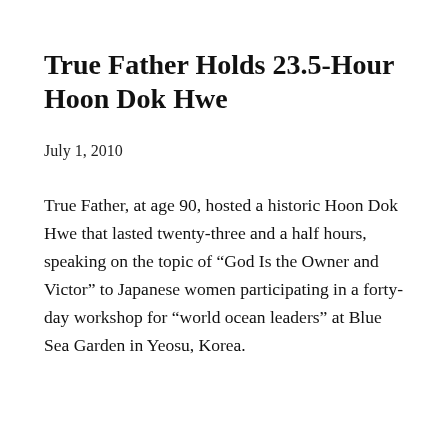True Father Holds 23.5-Hour Hoon Dok Hwe
July 1, 2010
True Father, at age 90, hosted a historic Hoon Dok Hwe that lasted twenty-three and a half hours, speaking on the topic of “God Is the Owner and Victor” to Japanese women participating in a forty-day workshop for “world ocean leaders” at Blue Sea Garden in Yeosu, Korea.